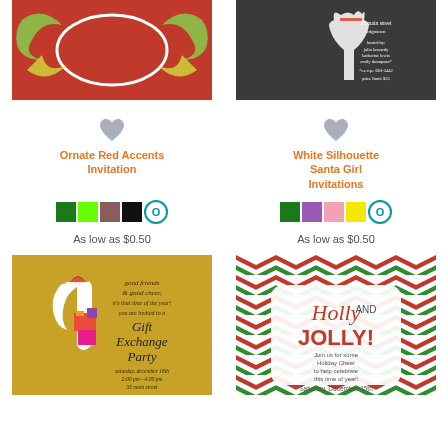[Figure (photo): Ornate Red Accents Invitation thumbnail - red background with ornate green and yellow floral accents and white oval]
[Figure (photo): White Silhouette Santa Girl Invitations thumbnail - dark chalkboard background with white silhouette of Santa girl]
Ornate Red Accents Invitation
White Silhouette Santa Girl Invitations
[Figure (infographic): Color swatches: dark green, lime green, brown, black, and teal circle O]
[Figure (infographic): Color swatches: dark green, purple, pink, yellow, and teal circle O]
As low as $0.50
As low as $0.50
[Figure (photo): Gift Exchange Party invitation - gold background with girl in Santa hat holding gifts]
[Figure (photo): Holly and Jolly invitation - green chevron pattern background with red and orange text]